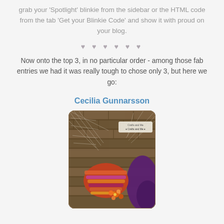grab your 'Spotlight' blinkie from the sidebar or the HTML code from the tab 'Get your Blinkie Code' and show it with proud on your blog.
♥ ♥ ♥ ♥ ♥ ♥
Now onto the top 3, in no particular order - among those fab entries we had it was really tough to chose only 3, but here we go:
Cecilia Gunnarsson
[Figure (illustration): A craft card featuring a witch or fantasy figure with a colorful striped hat, orange flower details, purple cloak, against a dark brick wall background with spider webs. A small logo/watermark label is visible in the upper right area of the image.]